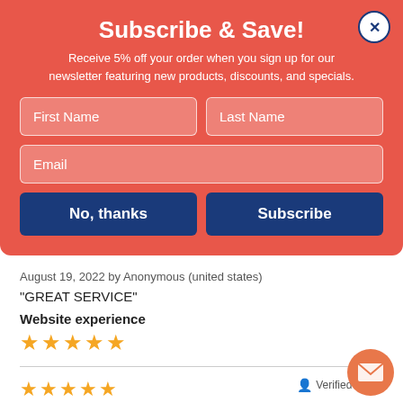Subscribe & Save!
Receive 5% off your order when you sign up for our newsletter featuring new products, discounts, and specials.
August 19, 2022 by Anonymous (united states)
"GREAT SERVICE"
Website experience
[Figure (other): 5 orange stars rating]
[Figure (other): 5 orange stars rating for second review]
Verified Buyer
August 19, 2022 by Linda B. (united states)